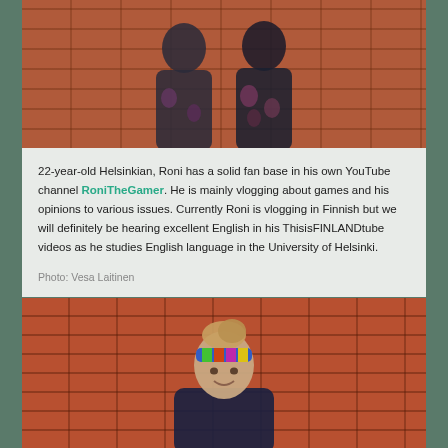[Figure (photo): Two people standing against a red brick wall, one wearing a dark floral jacket]
22-year-old Helsinkian, Roni has a solid fan base in his own YouTube channel RoniTheGamer. He is mainly vlogging about games and his opinions to various issues. Currently Roni is vlogging in Finnish but we will definitely be hearing excellent English in his ThisisFINLANDtube videos as he studies English language in the University of Helsinki.
Photo: Vesa Laitinen
[Figure (photo): Woman with a colorful headband smiling against a red brick wall]